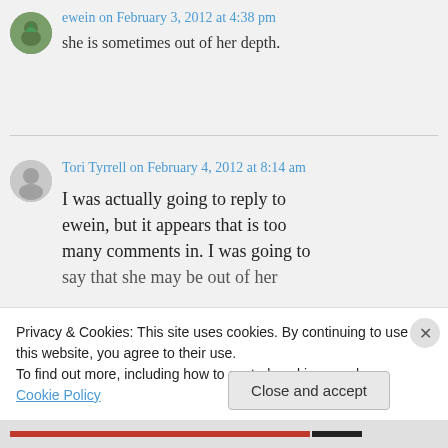ewein on February 3, 2012 at 4:38 pm
she is sometimes out of her depth.
Tori Tyrrell on February 4, 2012 at 8:14 am
I was actually going to reply to ewein, but it appears that is too many comments in. I was going to say that she may be out of her
Privacy & Cookies: This site uses cookies. By continuing to use this website, you agree to their use.
To find out more, including how to control cookies, see here: Cookie Policy
Close and accept